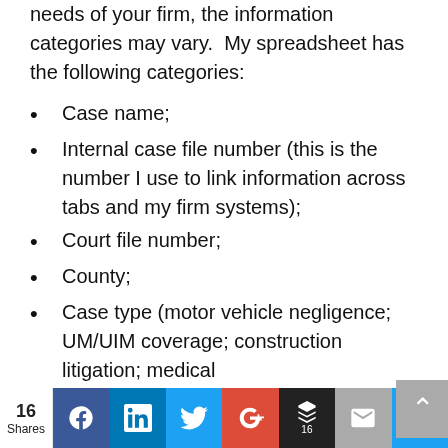needs of your firm, the information categories may vary.  My spreadsheet has the following categories:
Case name;
Internal case file number (this is the number I use to link information across tabs and my firm systems);
Court file number;
County;
Case type (motor vehicle negligence; UM/UIM coverage; construction litigation; medical
16 Shares | Facebook | LinkedIn | Twitter | Google+ | Buffer 16 | Email | Crown